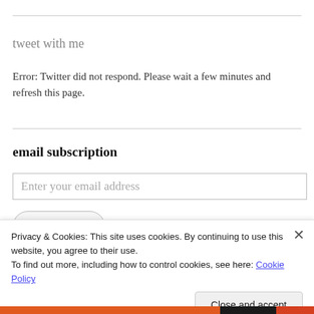tweet with me
Error: Twitter did not respond. Please wait a few minutes and refresh this page.
email subscription
Enter your email address
sign me up!
Privacy & Cookies: This site uses cookies. By continuing to use this website, you agree to their use.
To find out more, including how to control cookies, see here: Cookie Policy
Close and accept